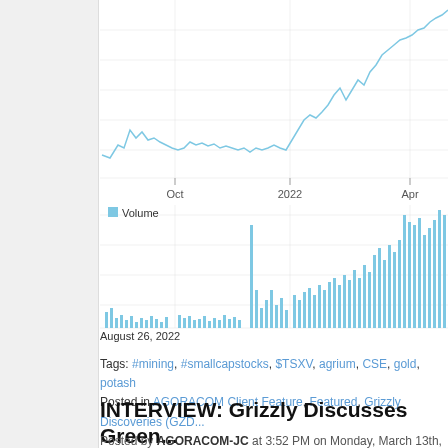[Figure (continuous-plot): Stock price line chart (top panel) showing price increase from Oct 2021 through Apr 2022, with x-axis labels Oct, 2022, Apr. Below is a volume bar chart (bottom panel) showing trading volume spikes especially towards Apr 2022. Both panels share the same time axis.]
August 26, 2022
Tags: #mining, #smallcapstocks, $TSXV, agrium, CSE, gold, potash
Posted in AGORACOM Client Feature, Featured, Grizzly Discoveries (GZD...
INTERVIEW: Grizzly Discusses Green... Under Option to Kinross $GZD.ca $K...
Posted by AGORACOM-JC at 3:52 PM on Monday, March 13th, 2017